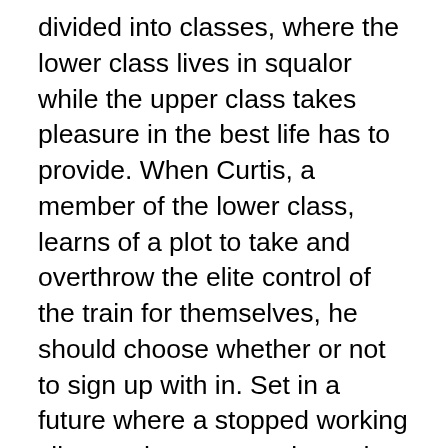divided into classes, where the lower class lives in squalor while the upper class takes pleasure in the best life has to provide. When Curtis, a member of the lower class, learns of a plot to take and overthrow the elite control of the train for themselves, he should choose whether or not to sign up with in. Set in a future where a stopped working climate-change experiment has killed all life on the planet except for those aboard the Snowpiercer, a train that travels around the world, the movie follows its travelers as they battle for their survival.
The passengers of this train are divided into classes: the wealthy elites, who live in high-end on the upper levels; and the rest of the passengers, who live on floors listed below in